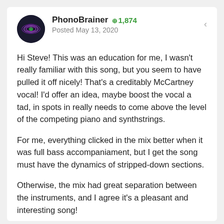PhonoBrainer +1,874 Posted May 13, 2020
Hi Steve! This was an education for me, I wasn't really familiar with this song, but you seem to have pulled it off nicely! That's a creditably McCartney vocal! I'd offer an idea, maybe boost the vocal a tad, in spots in really needs to come above the level of the competing piano and synthstrings.
For me, everything clicked in the mix better when it was full bass accompaniament, but I get the song must have the dynamics of stripped-down sections.
Otherwise, the mix had great separation between the instruments, and I agree it's a pleasant and interesting song!
Nice job on it!